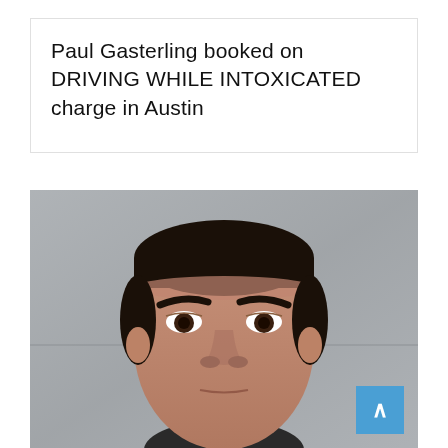Paul Gasterling booked on DRIVING WHILE INTOXICATED  charge in Austin
[Figure (photo): Mugshot/booking photo of Paul Gasterling, a young Hispanic male with short dark hair, facing forward against a gray wall background. A blue scroll-to-top button is visible in the lower right corner of the image.]